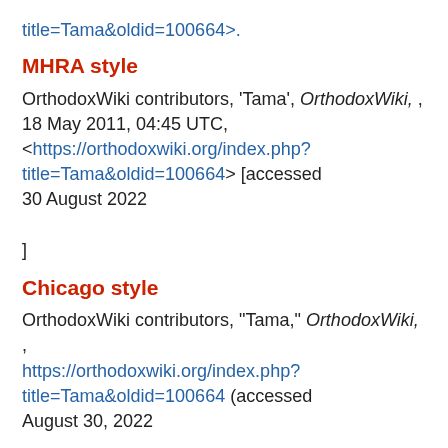title=Tama&oldid=100664>.
MHRA style
OrthodoxWiki contributors, 'Tama', OrthodoxWiki, , 18 May 2011, 04:45 UTC, <https://orthodoxwiki.org/index.php?title=Tama&oldid=100664> [accessed 30 August 2022 ]
Chicago style
OrthodoxWiki contributors, "Tama," OrthodoxWiki, , https://orthodoxwiki.org/index.php?title=Tama&oldid=100664 (accessed August 30, 2022 ).
CBE/CSE style
OrthodoxWiki contributors. Tama [Internet].